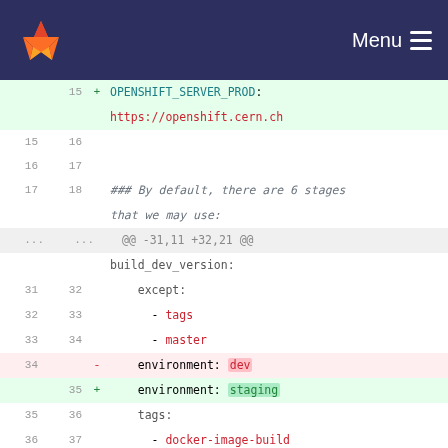[Figure (screenshot): GitLab navigation bar with fox logo and Menu button on dark navy background]
Diff view of a YAML CI configuration file showing changes to OpenShift server configuration, environment variable change from dev to staging, and addition of build_prod_version block. Lines 15-41 shown with old/new line numbers.